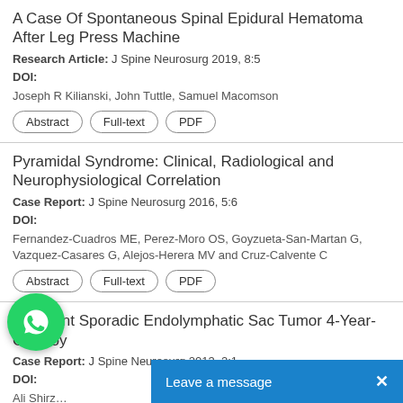A Case Of Spontaneous Spinal Epidural Hematoma After Leg Press Machine
Research Article: J Spine Neurosurg 2019, 8:5
DOI:
Joseph R Kilianski, John Tuttle, Samuel Macomson
Pyramidal Syndrome: Clinical, Radiological and Neurophysiological Correlation
Case Report: J Spine Neurosurg 2016, 5:6
DOI:
Fernandez-Cuadros ME, Perez-Moro OS, Goyzueta-San-Martan G, Vazquez-Casares G, Alejos-Herera MV and Cruz-Calvente C
Apparent Sporadic Endolymphatic Sac Tumor 4-Year-Old Boy
Case Report: J Spine Neurosurg 2013, 2:1
DOI: